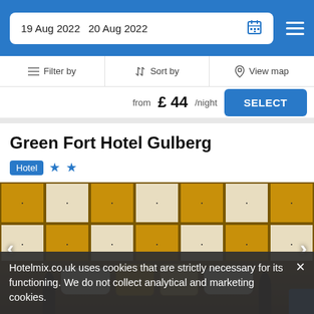19 Aug 2022  20 Aug 2022
Filter by   Sort by   View map
from £ 44/night   SELECT
Green Fort Hotel Gulberg
Hotel ★★
[Figure (photo): Hotel room with alternating gold and white padded headboard panels, bed with white and gold pillows in front of headboard]
Hotelmix.co.uk uses cookies that are strictly necessary for its functioning. We do not collect analytical and marketing cookies.
Very good